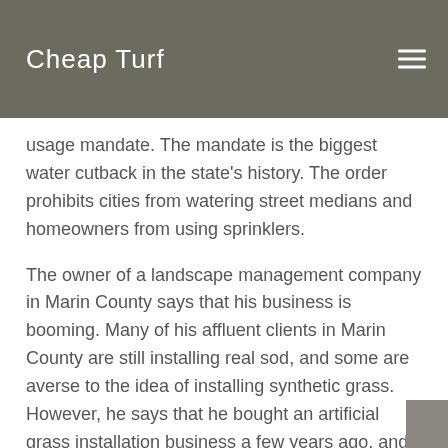Cheap Turf
usage mandate. The mandate is the biggest water cutback in the state's history. The order prohibits cities from watering street medians and homeowners from using sprinklers.
The owner of a landscape management company in Marin County says that his business is booming. Many of his affluent clients in Marin County are still installing real sod, and some are averse to the idea of installing synthetic grass. However, he says that he bought an artificial grass installation business a few years ago, and since then it's become one of the largest components of his business.
In fact, he says he feels like a genius for buying the